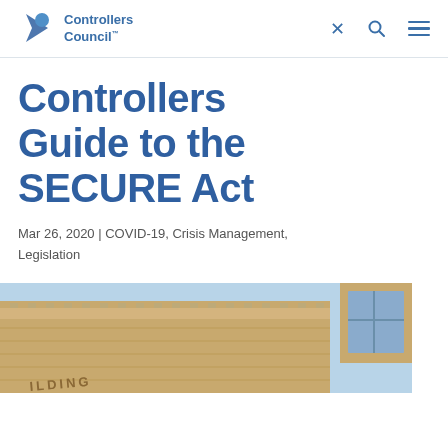Controllers Council™
Controllers Guide to the SECURE Act
Mar 26, 2020 | COVID-19, Crisis Management, Legislation
[Figure (photo): Exterior of a brick building with ornate cornice detail and a window, viewed from below against a light blue sky. Text on the building partially reads 'BUILDING'.]